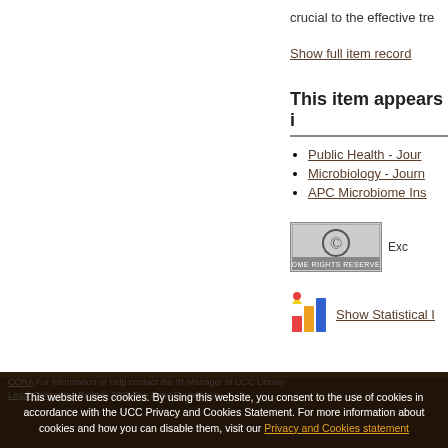crucial to the effective tre
Show full item record
This item appears i
Public Health - Jour
Microbiology - Journ
APC Microbiome Ins
[Figure (logo): Creative Commons Some Rights Reserved badge]
Exc
[Figure (infographic): Colorful bar chart statistics icon]
Show Statistical I
This website uses cookies. By using this website, you consent to the use of cookies in accordance with the UCC Privacy and Cookies Statement. For more information about cookies and how you can disable them, visit our Privacy and Cookies statement